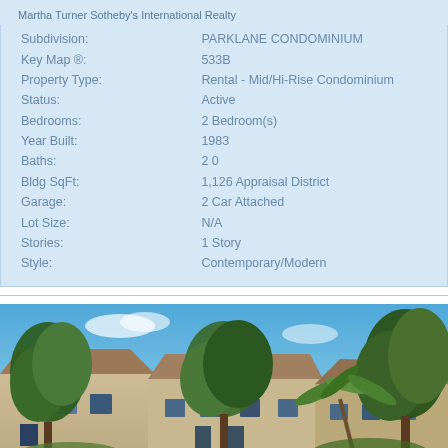Martha Turner Sotheby's International Realty
| Field | Value |
| --- | --- |
| Subdivision: | PARKLANE CONDOMINIUM |
| Key Map ®: | 533B |
| Property Type: | Rental - Mid/Hi-Rise Condominium |
| Status: | Active |
| Bedrooms: | 2 Bedroom(s) |
| Year Built: | 1983 |
| Baths: | 2 0 |
| Bldg SqFt: | 1,126 Appraisal District |
| Garage: | 2 Car Attached |
| Lot Size: | N/A |
| Stories: | 1 Story |
| Style: | Contemporary/Modern |
[Figure (photo): Exterior photo of Parklane Condominium showing brick buildings with sloped roofs, large trees in foreground, blue sky background, and palm vegetation on right side.]